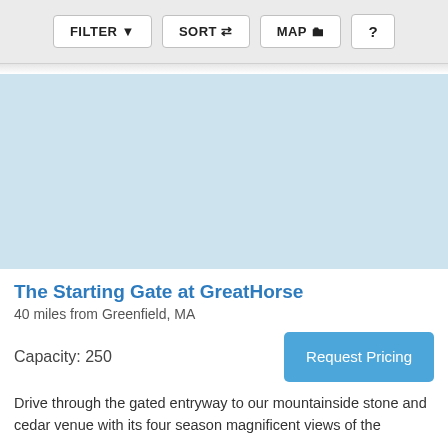[Figure (screenshot): Toolbar with FILTER, SORT, MAP, and ? buttons on a light grey background]
[Figure (map): Light blue map placeholder image]
The Starting Gate at GreatHorse
40 miles from Greenfield, MA
Capacity: 250
Request Pricing
Drive through the gated entryway to our mountainside stone and cedar venue with its four season magnificent views of the